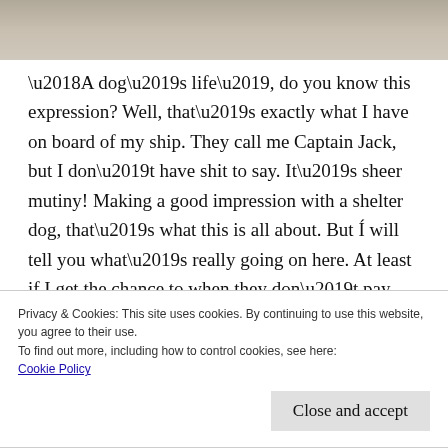[Figure (photo): Top strip showing a textured sandy/earthy surface, cropped photograph]
'A dog’s life’, do you know this expression? Well, that’s exactly what I have on board of my ship. They call me Captain Jack, but I don’t have shit to say. It’s sheer mutiny! Making a good impression with a shelter dog, that’s what this is all about. But Í will tell you what’s really going on here. At least if I get the chance to when they don’t pay attention. In my own
Privacy & Cookies: This site uses cookies. By continuing to use this website, you agree to their use.
To find out more, including how to control cookies, see here:
Cookie Policy
Close and accept